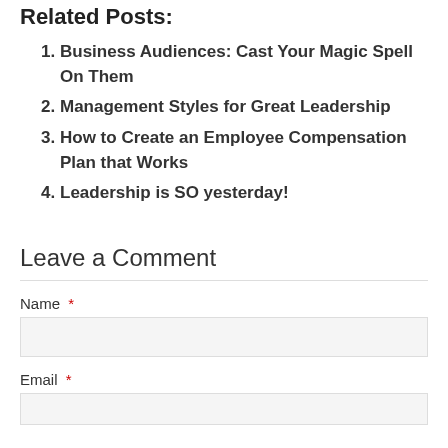Related Posts:
Business Audiences: Cast Your Magic Spell On Them
Management Styles for Great Leadership
How to Create an Employee Compensation Plan that Works
Leadership is SO yesterday!
Leave a Comment
Name *
Email *